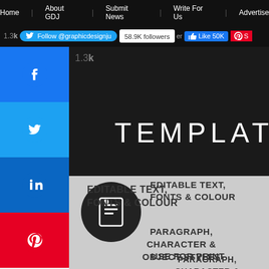Home | About GDJ | Submit News | Write For Us | Advertise
Follow @graphicdesignju  58.9K followers  Like 50K
[Figure (screenshot): Website screenshot showing a graphic design template page with navigation bar, social media sidebar buttons (Facebook, Twitter, LinkedIn, Pinterest), a resume/CV template preview with editable features listed, and social media follow widgets.]
1.3k TEMPLATE
A4 & US Letter Sizes
CS4+ Compatible
EDITABLE TEXT, FONTS & COLOUR
PARAGRAPH, CHARACTER & OBJECT STYLES
USE FOR PRINT